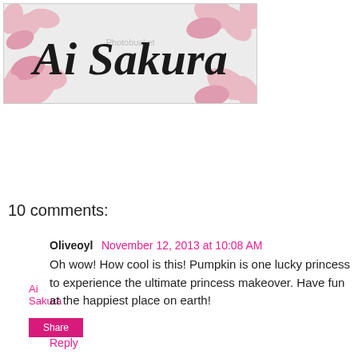[Figure (logo): Ai Sakura blog header with pink cherry blossom flowers and cursive/script text reading 'Ai Sakura' on a gray background, with a Photobucket watermark]
Ai Sakura
Share
10 comments:
Oliveoyl  November 12, 2013 at 10:08 AM
Oh wow! How cool is this! Pumpkin is one lucky princess to experience the ultimate princess makeover. Have fun at the happiest place on earth!
Reply